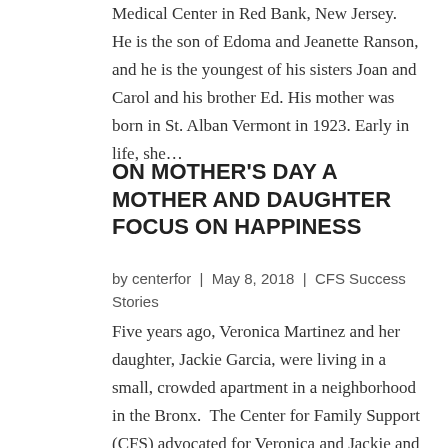Medical Center in Red Bank, New Jersey. He is the son of Edoma and Jeanette Ranson, and he is the youngest of his sisters Joan and Carol and his brother Ed. His mother was born in St. Alban Vermont in 1923. Early in life, she...
ON MOTHER'S DAY A MOTHER AND DAUGHTER FOCUS ON HAPPINESS
by centerfor | May 8, 2018 | CFS Success Stories
Five years ago, Veronica Martinez and her daughter, Jackie Garcia, were living in a small, crowded apartment in a neighborhood in the Bronx.  The Center for Family Support (CFS) advocated for Veronica and Jackie and to...